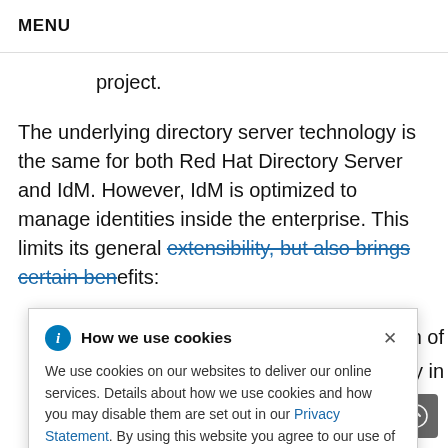MENU
project.
The underlying directory server technology is the same for both Red Hat Directory Server and IdM. However, IdM is optimized to manage identities inside the enterprise. This limits its general extensibility, but also brings certain benefits:
How we use cookies — Cookie banner: We use cookies on our websites to deliver our online services. Details about how we use cookies and how you may disable them are set out in our Privacy Statement. By using this website you agree to our use of cookies.